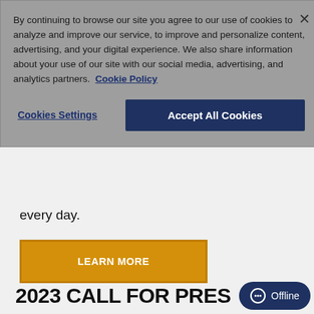By continuing to browse our site you agree to our use of cookies to analyze and improve our service, to improve and personalize content, advertising, and your digital experience. We also share information about your use of our site with our social media, advertising, and analytics partners.  Cookie Policy
Cookies Settings
Accept All Cookies
every day.
LEARN MORE
2023 CALL FOR PRES...
Offline